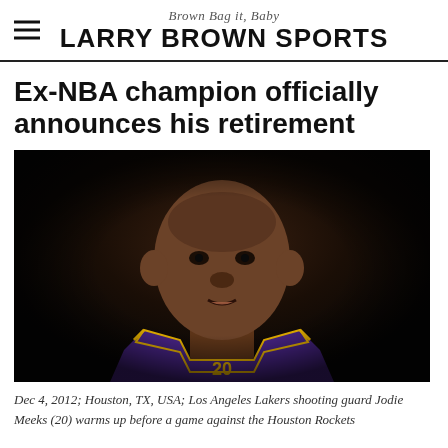Brown Bag it, Baby — LARRY BROWN SPORTS
Ex-NBA champion officially announces his retirement
[Figure (photo): Close-up photo of Los Angeles Lakers shooting guard Jodie Meeks (20) in a purple and gold Lakers jersey, looking forward, taken during warm-ups before a game against the Houston Rockets on Dec 4, 2012 in Houston, TX, USA.]
Dec 4, 2012; Houston, TX, USA; Los Angeles Lakers shooting guard Jodie Meeks (20) warms up before a game against the Houston Rockets